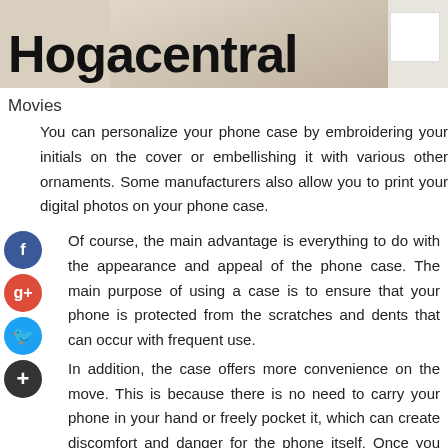[Figure (photo): Header image with a light beige/tan background with what appears to be a decorative item. Site title 'Hogacentral' overlaid in large black bold text.]
Movies
You can personalize your phone case by embroidering your initials on the cover or embellishing it with various other ornaments. Some manufacturers also allow you to print your digital photos on your phone case.
Of course, the main advantage is everything to do with the appearance and appeal of the phone case. The main purpose of using a case is to ensure that your phone is protected from the scratches and dents that can occur with frequent use.
In addition, the case offers more convenience on the move. This is because there is no need to carry your phone in your hand or freely pocket it, which can create discomfort and danger for the phone itself. Once you have your phone case,